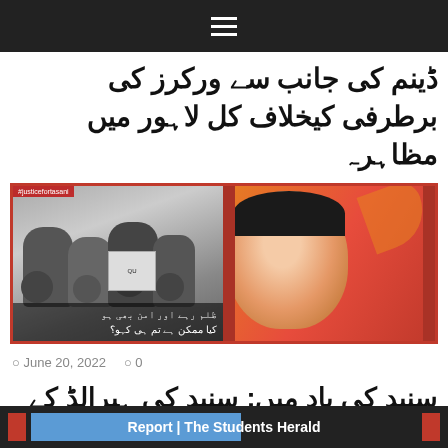☰
ڈینم کی جانب سے ورکرز کی برطرفی کیخلاف کل لاہور میں مظاہرہ
[Figure (photo): Left: Black and white photo of protesters holding signs with Urdu text. Right: Illustrated portrait of a young man on red-orange background with Urdu text overlay reading 'ظلم رہے اور امن بھی ہو کیا ممکن ہے تم ہی کہو']
June 20, 2022   0
سنید کی یاد میں: سنید کی ہیرالڈ کے لیے لکھی گئی تحریر
[Figure (screenshot): Bottom bar showing 'Report | The Students Herald' with red accent blocks and blue section]